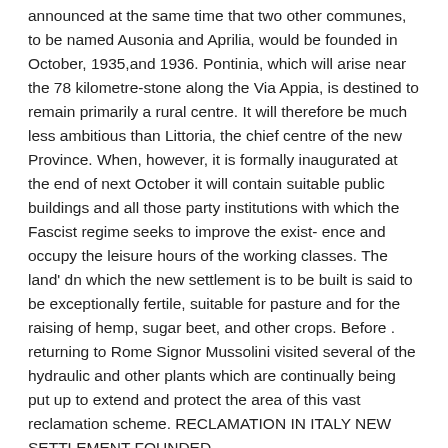announced at the same time that two other communes, to be named Ausonia and Aprilia, would be founded in October, 1935,and 1936. Pontinia, which will arise near the 78 kilometre-stone along the Via Appia, is destined to remain primarily a rural centre. It will therefore be much less ambitious than Littoria, the chief centre of the new Province. When, however, it is formally inaugurated at the end of next October it will contain suitable public buildings and all those party institutions with which the Fascist regime seeks to improve the exist- ence and occupy the leisure hours of the working classes. The land' dn which the new settlement is to be built is said to be exceptionally fertile, suitable for pasture and for the raising of hemp, sugar beet, and other crops. Before . returning to Rome Signor Mussolini visited several of the hydraulic and other plants which are continually being put up to extend and protect the area of this vast reclamation scheme. RECLAMATION IN ITALY NEW SETTLEMENT FOUNDED
Articoli correlati:
1. The Times | 19 Dicembre 1934 A scene in Holborn yesterday.